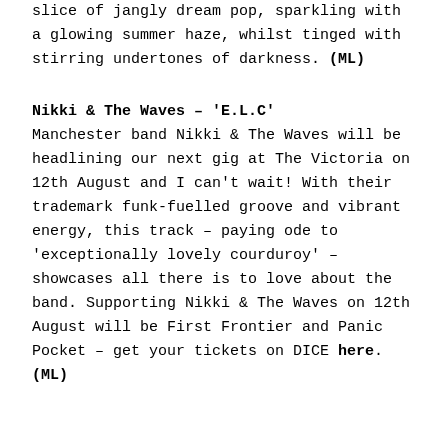slice of jangly dream pop, sparkling with a glowing summer haze, whilst tinged with stirring undertones of darkness. (ML)
Nikki & The Waves – 'E.L.C'
Manchester band Nikki & The Waves will be headlining our next gig at The Victoria on 12th August and I can't wait! With their trademark funk-fuelled groove and vibrant energy, this track – paying ode to 'exceptionally lovely courduroy' – showcases all there is to love about the band. Supporting Nikki & The Waves on 12th August will be First Frontier and Panic Pocket – get your tickets on DICE here. (ML)